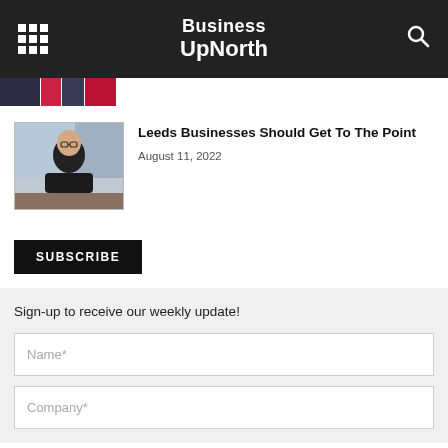Business UpNorth
[Figure (photo): Partial view of clothing items or people at top of article list]
Leeds Businesses Should Get To The Point
August 11, 2022
[Figure (photo): Portrait photo of a man in a dark shirt sitting at a desk with arms crossed, wearing glasses]
SUBSCRIBE
Sign-up to receive our weekly update!
Name*
Company*